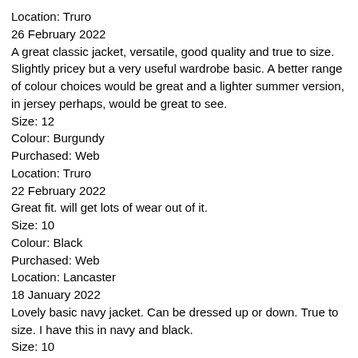Location: Truro
26 February 2022
A great classic jacket, versatile, good quality and true to size. Slightly pricey but a very useful wardrobe basic. A better range of colour choices would be great and a lighter summer version, in jersey perhaps, would be great to see.
Size: 12
Colour: Burgundy
Purchased: Web
Location: Truro
22 February 2022
Great fit. will get lots of wear out of it.
Size: 10
Colour: Black
Purchased: Web
Location: Lancaster
18 January 2022
Lovely basic navy jacket. Can be dressed up or down. True to size. I have this in navy and black.
Size: 10
Colour: Navy
Purchased: Web
Location: Llandrindod Wells
12 January 2022
snygg och bra kvalitet, passar